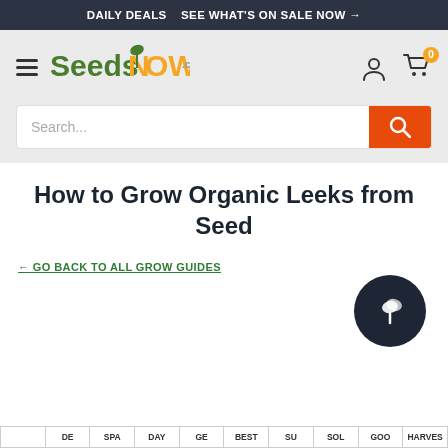DAILY DEALS  SEE WHAT'S ON SALE NOW →
[Figure (logo): SeedsNow.com logo with green and orange text and sprout icon]
How to Grow Organic Leeks from Seed
← GO BACK TO ALL GROW GUIDES
[Figure (illustration): Dark circular button with white sprout/seedling icon]
|  | DE | SPA | DAY | GE | BEST | SU | SOL | GOO | HARVES |
| --- | --- | --- | --- | --- | --- | --- | --- | --- | --- |